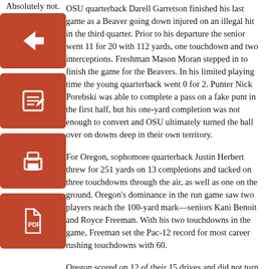Absolutely not.
[Figure (illustration): Four orange square icon buttons stacked vertically on the left: back arrow, edit/pencil, print, and PDF file icon.]
OSU quarterback Darell Garretson finished his last game as a Beaver going down injured on an illegal hit in the third quarter. Prior to his departure the senior went 11 for 20 with 112 yards, one touchdown and two interceptions. Freshman Mason Moran stepped in to finish the game for the Beavers. In his limited playing time the young quarterback went 0 for 2. Punter Nick Porebski was able to complete a pass on a fake punt in the first half, but his one-yard completion was not enough to convert and OSU ultimately turned the ball over on downs deep in their own territory.
For Oregon, sophomore quarterback Justin Herbert threw for 251 yards on 13 completions and tacked on three touchdowns through the air, as well as one on the ground. Oregon's dominance in the run game saw two players reach the 100-yard mark—seniors Kani Benoit and Royce Freeman. With his two touchdowns in the game, Freeman set the Pac-12 record for most career rushing touchdowns with 60.
Oregon scored on 12 of their 15 drives and did not turn the ball over once. OSU punted seven times and turned